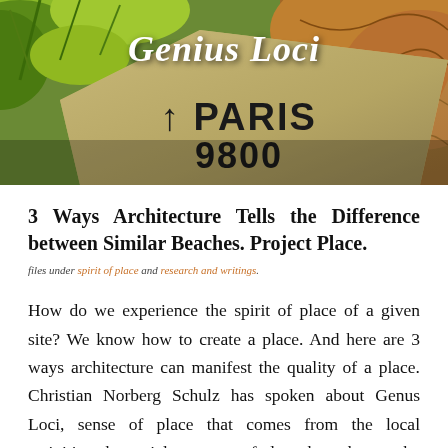[Figure (photo): Header photo showing a stone directional sign reading 'PARIS 9800' with an arrow, surrounded by colorful foliage in the background. The text 'Genius Loci' is overlaid in bold italic white font.]
3 Ways Architecture Tells the Difference between Similar Beaches. Project Place.
files under spirit of place and research and writings.
How do we experience the spirit of place of a given site? We know how to create a place. And here are 3 ways architecture can manifest the quality of a place. Christian Norberg Schulz has spoken about Genus Loci, sense of place that comes from the local activities, the social economy of place, but what can be much objective in the